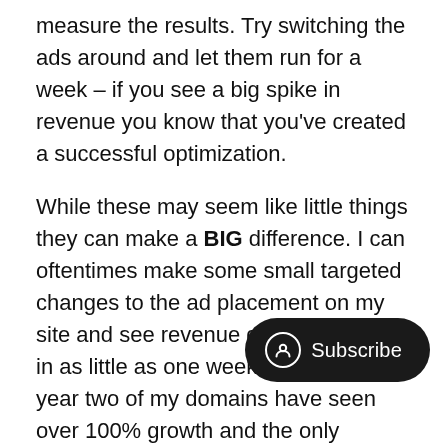measure the results. Try switching the ads around and let them run for a week – if you see a big spike in revenue you know that you've created a successful optimization.
While these may seem like little things they can make a BIG difference. I can oftentimes make some small targeted changes to the ad placement on my site and see revenue grow over 50% in as little as one week. In fact – this year two of my domains have seen over 100% growth and the only change I made is where the ads were located on the page!
So next time you build a site – don't ignore it month after month. Figure-out what your monthly revenue is – make some targeted changes – and increase your revenue. Do this across all your